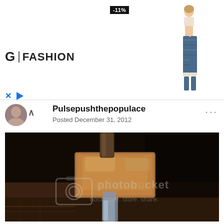[Figure (screenshot): Advertisement banner for G|FASHION showing -11% badge and a fashion model figure in plaid pants]
Pulsepushthepopulace
Posted December 31, 2012
[Figure (photo): Photo of a rusty hammer-like metal tool on a dark surface, with a Photobucket watermark overlay reading 'photobucket host more. store. share.']